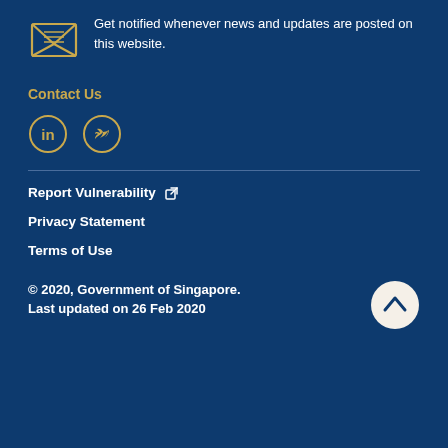Get notified whenever news and updates are posted on this website.
Contact Us
[Figure (illustration): Envelope icon for newsletter subscription]
[Figure (illustration): LinkedIn and Twitter social media icons in golden circles]
Report Vulnerability
Privacy Statement
Terms of Use
© 2020, Government of Singapore. Last updated on 26 Feb 2020